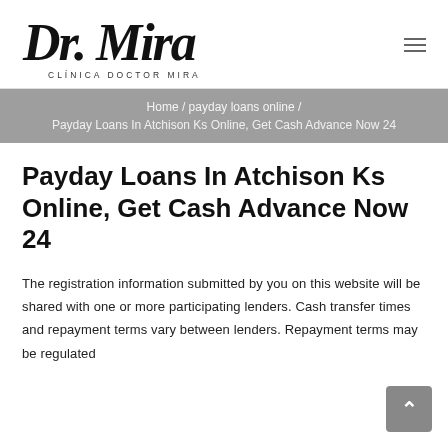[Figure (logo): Dr. Mira handwritten script logo with 'CLÍNICA DOCTOR MIRA' subtitle text]
Home / payday loans online / Payday Loans In Atchison Ks Online, Get Cash Advance Now 24
Payday Loans In Atchison Ks Online, Get Cash Advance Now 24
The registration information submitted by you on this website will be shared with one or more participating lenders. Cash transfer times and repayment terms vary between lenders. Repayment terms may be regulated